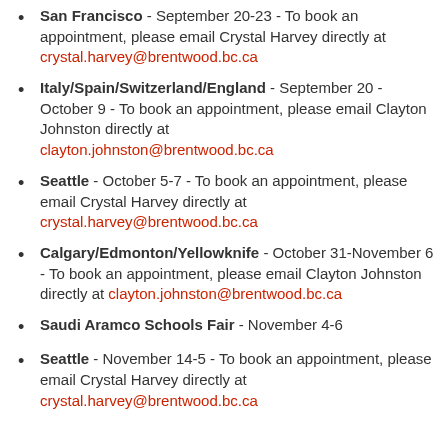San Francisco - September 20-23 - To book an appointment, please email Crystal Harvey directly at crystal.harvey@brentwood.bc.ca
Italy/Spain/Switzerland/England - September 20 - October 9 - To book an appointment, please email Clayton Johnston directly at clayton.johnston@brentwood.bc.ca
Seattle - October 5-7 - To book an appointment, please email Crystal Harvey directly at crystal.harvey@brentwood.bc.ca
Calgary/Edmonton/Yellowknife - October 31-November 6 - To book an appointment, please email Clayton Johnston directly at clayton.johnston@brentwood.bc.ca
Saudi Aramco Schools Fair - November 4-6
Seattle - November 14-5 - To book an appointment, please email Crystal Harvey directly at crystal.harvey@brentwood.bc.ca